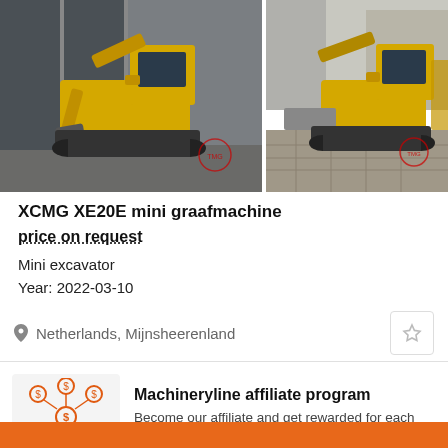[Figure (photo): Two photos of XCMG XE20E mini excavator (yellow and black), shown side by side. Left photo shows excavator indoors against grey wall. Right photo shows excavator outdoors on paving stones.]
XCMG XE20E mini graafmachine
price on request
Mini excavator
Year: 2022-03-10
Netherlands, Mijnsheerenland
[Figure (illustration): Machineryline affiliate program icon: orange network/people diagram with dollar signs on circular nodes]
Machineryline affiliate program
Become our affiliate and get rewarded for each attracted client